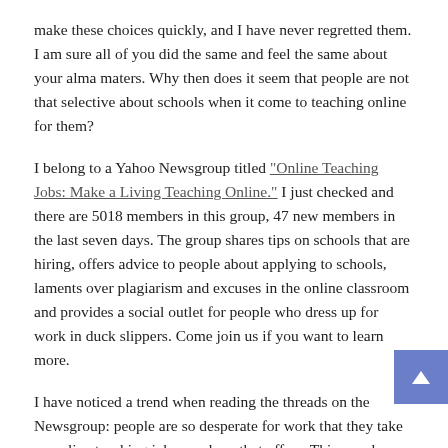make these choices quickly, and I have never regretted them. I am sure all of you did the same and feel the same about your alma maters. Why then does it seem that people are not that selective about schools when it come to teaching online for them?
I belong to a Yahoo Newsgroup titled "Online Teaching Jobs: Make a Living Teaching Online." I just checked and there are 5018 members in this group, 47 new members in the last seven days. The group shares tips on schools that are hiring, offers advice to people about applying to schools, laments over plagiarism and excuses in the online classroom and provides a social outlet for people who dress up for work in duck slippers. Come join us if you want to learn more.
I have noticed a trend when reading the threads on the Newsgroup: people are so desperate for work that they take an online teaching job anywhere that offers. This may be a symptom of our poor economy, but is it fair to our students? Shouldn't we as faculty interview the school and make sure it is a good match for our teaching philosophy and expectations, just like we did when we